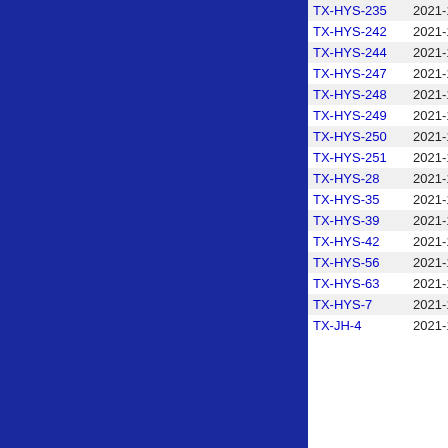| ID | Datetime | Value1 | Value2 |
| --- | --- | --- | --- |
| TX-HYS-235 | 2021-11-26 15:00 | 0.000 | 24.000 |
| TX-HYS-242 | 2021-11-26 13:00 | 0.000 | 24.000 |
| TX-HYS-244 | 2021-11-26 13:00 | 0.000 | 24.000 |
| TX-HYS-247 | 2021-11-26 13:00 | 0.000 | 24.000 |
| TX-HYS-248 | 2021-11-26 15:40 | 0.000 | 24.000 |
| TX-HYS-249 | 2021-11-26 13:00 | 0.000 | 24.000 |
| TX-HYS-250 | 2021-11-26 14:00 | 0.000 | 24.000 |
| TX-HYS-251 | 2021-11-26 13:00 | 0.000 | 24.000 |
| TX-HYS-28 | 2021-11-26 13:00 | 0.000 | 24.000 |
| TX-HYS-35 | 2021-11-26 13:00 | 0.000 | 24.000 |
| TX-HYS-39 | 2021-11-26 14:00 | 0.000 | 24.000 |
| TX-HYS-42 | 2021-11-26 14:00 | 0.000 | 24.000 |
| TX-HYS-56 | 2021-11-26 13:00 | 0.000 | 24.000 |
| TX-HYS-63 | 2021-11-26 13:00 | 0.000 | 24.000 |
| TX-HYS-7 | 2021-11-26 13:00 | 0.000 | 24.000 |
| TX-JH-4 | 2021-11-26 14:00 | 0.000 | 24.000 |